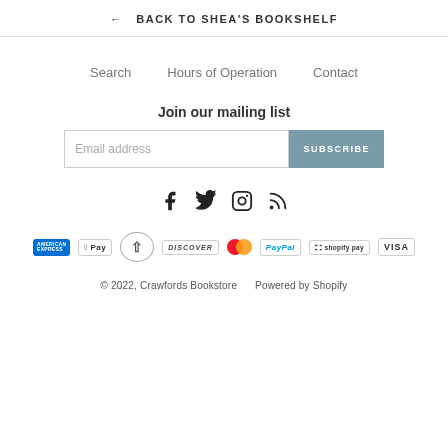← BACK TO SHEA'S BOOKSHELF
Search   Hours of Operation   Contact
Join our mailing list
Email address  SUBSCRIBE
[Figure (other): Social media icons: Facebook, Twitter, Instagram, RSS feed]
[Figure (other): Payment method icons: American Express, Apple Pay, Diners Club, Discover, Mastercard, PayPal, Shopify Pay, Visa]
© 2022, Crawfords Bookstore   Powered by Shopify